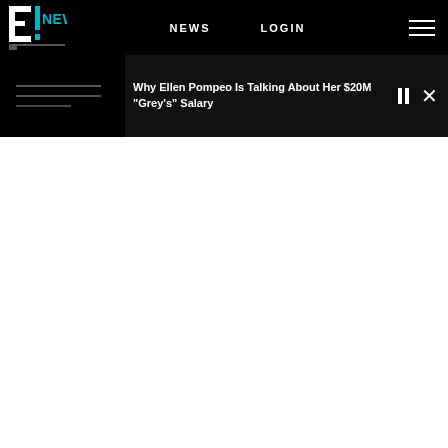E! NEWS — NEWS   LOGIN
[Figure (screenshot): E! News website screenshot showing navigation bar with E! News logo, NEWS and LOGIN links, hamburger menu, and a video player bar with title 'Why Ellen Pompeo Is Talking About Her $20M "Grey's" Salary' with pause and close controls]
Why Ellen Pompeo Is Talking About Her $20M "Grey's" Salary